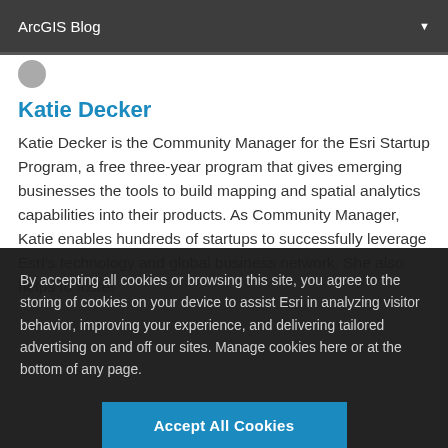ArcGIS Blog
Katie Decker
Katie Decker is the Community Manager for the Esri Startup Program, a free three-year program that gives emerging businesses the tools to build mapping and spatial analytics capabilities into their products. As Community Manager, Katie enables hundreds of startups to successfully leverage Esri's technology and global business network. She also helps to foster
By accepting all cookies or browsing this site, you agree to the storing of cookies on your device to assist Esri in analyzing visitor behavior, improving your experience, and delivering tailored advertising on and off our sites. Manage cookies here or at the bottom of any page.
Accept All Cookies